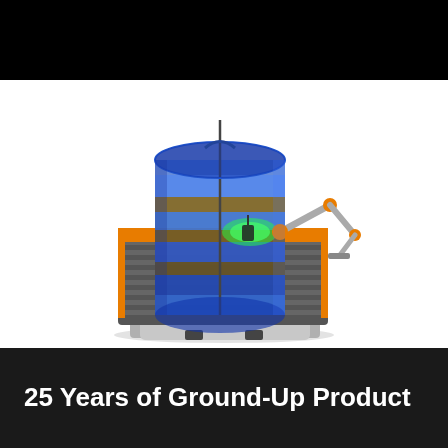[Figure (illustration): 3D rendering of an industrial robotic machine: a cylindrical blue translucent vessel showing layered geological strata with a green scanning beam, mounted on a dark grey ribbed rectangular base with an orange top surface. A robotic arm with orange joints extends from the right side of the cylinder into it. The whole assembly sits on a wheeled platform.]
25 Years of Ground-Up Product